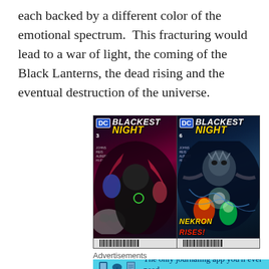each backed by a different color of the emotional spectrum.  This fracturing would lead to a war of light, the coming of the Black Lanterns, the dead rising and the eventual destruction of the universe.
[Figure (illustration): Two side-by-side comic book covers for 'Blackest Night' issues #3 and #6 by DC Comics. Issue #3 features dark figures on a red/purple background; Issue #6 features a blue-toned cover with 'Nekron Rises!' text.]
Advertisements
[Figure (illustration): Advertisement banner for 'Day One' journaling app with text: 'The only journaling app you'll ever need.' on a light blue background with icons.]